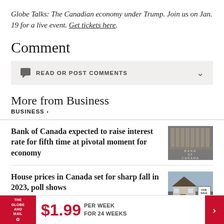Globe Talks: The Canadian economy under Trump. Join us on Jan. 19 for a live event. Get tickets here.
Comment
READ OR POST COMMENTS
More from Business
BUSINESS >
Bank of Canada expected to raise interest rate for fifth time at pivotal moment for economy
[Figure (photo): Bank of Canada building exterior with engraved lettering]
House prices in Canada set for sharp fall in 2023, poll shows
[Figure (photo): House with For Sale sign in front]
$1.99 PER WEEK FOR 24 WEEKS